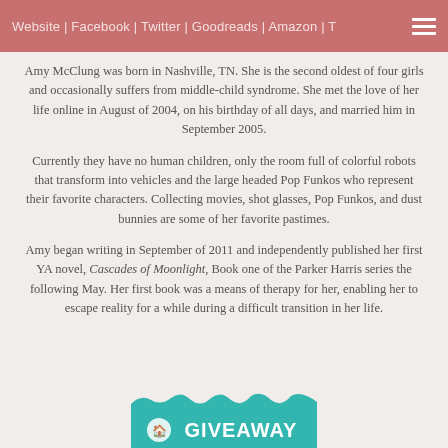Website | Facebook | Twitter | Goodreads | Amazon | T
Amy McClung was born in Nashville, TN. She is the second oldest of four girls and occasionally suffers from middle-child syndrome. She met the love of her life online in August of 2004, on his birthday of all days, and married him in September 2005.
Currently they have no human children, only the room full of colorful robots that transform into vehicles and the large headed Pop Funkos who represent their favorite characters. Collecting movies, shot glasses, Pop Funkos, and dust bunnies are some of her favorite pastimes.
Amy began writing in September of 2011 and independently published her first YA novel, Cascades of Moonlight, Book one of the Parker Harris series the following May. Her first book was a means of therapy for her, enabling her to escape reality for a while during a difficult transition in her life.
[Figure (other): Teal giveaway banner with snowflake/house icon and text GIVEAWAY]